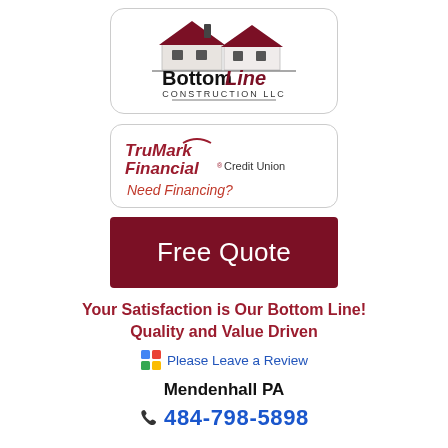[Figure (logo): BottomLine Construction LLC logo with two house silhouettes and company name]
[Figure (logo): TruMark Financial Credit Union logo with italic styled text and arch over M, with 'Need Financing?' in red italic below]
Free Quote
Your Satisfaction is Our Bottom Line! Quality and Value Driven
Please Leave a Review
Mendenhall PA
484-798-5898